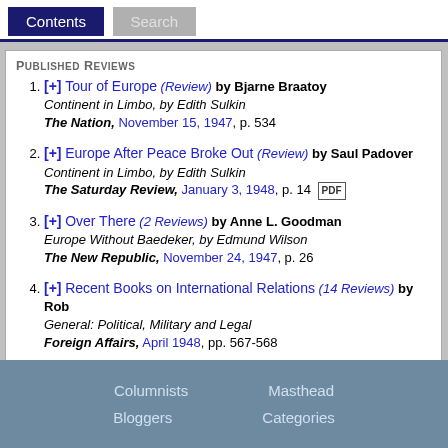Contents | Search
Published Reviews
[+] Tour of Europe (Review) by Bjarne Braatoy
Continent in Limbo, by Edith Sulkin
The Nation, November 15, 1947, p. 534
[+] Europe After Peace Broke Out (Review) by Saul Padover
Continent in Limbo, by Edith Sulkin
The Saturday Review, January 3, 1948, p. 14 [PDF]
[+] Over There (2 Reviews) by Anne L. Goodman
Europe Without Baedeker, by Edmund Wilson
The New Republic, November 24, 1947, p. 26
[+] Recent Books on International Relations (14 Reviews) by Rob
General: Political, Military and Legal
Foreign Affairs, April 1948, pp. 567-568
Columnists   Masthead   Bloggers   Categories